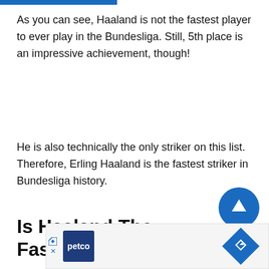As you can see, Haaland is not the fastest player to ever play in the Bundesliga. Still, 5th place is an impressive achievement, though!
He is also technically the only striker on this list. Therefore, Erling Haaland is the fastest striker in Bundesliga history.
Is Haaland The Fastest
[Figure (other): Advertisement banner featuring Petco logo and navigation icon]